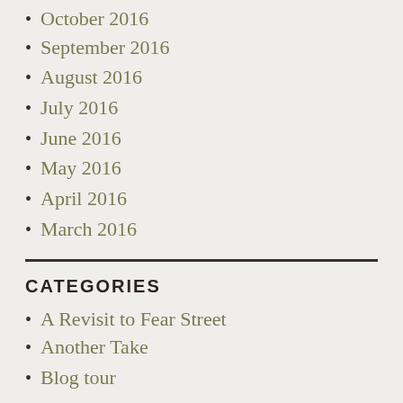October 2016
September 2016
August 2016
July 2016
June 2016
May 2016
April 2016
March 2016
CATEGORIES
A Revisit to Fear Street
Another Take
Blog tour